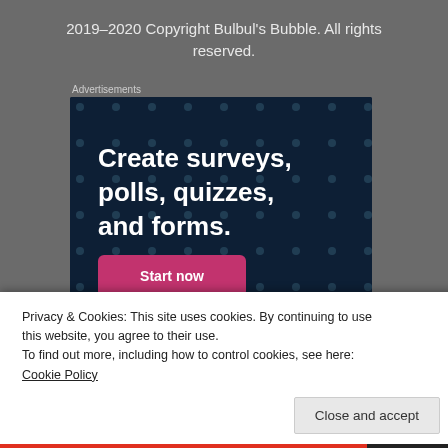2019–2020 Copyright Bulbul's Bubble. All rights reserved.
Advertisements
[Figure (screenshot): Crowdsignal advertisement banner on dark navy background with polka dots. Text reads 'Create surveys, polls, quizzes, and forms.' with a pink 'Start now' button and Crowdsignal logo in bottom right.]
Privacy & Cookies: This site uses cookies. By continuing to use this website, you agree to their use.
To find out more, including how to control cookies, see here: Cookie Policy